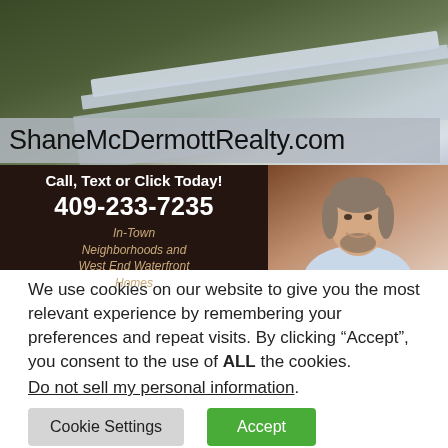[Figure (photo): Real estate advertisement banner for ShaneMcDermottRealty.com showing a house exterior photo background with a dark panel containing contact info and a photo of a smiling middle-aged man in a light blue shirt]
We use cookies on our website to give you the most relevant experience by remembering your preferences and repeat visits. By clicking “Accept”, you consent to the use of ALL the cookies.
Do not sell my personal information.
Cookie Settings
Accept